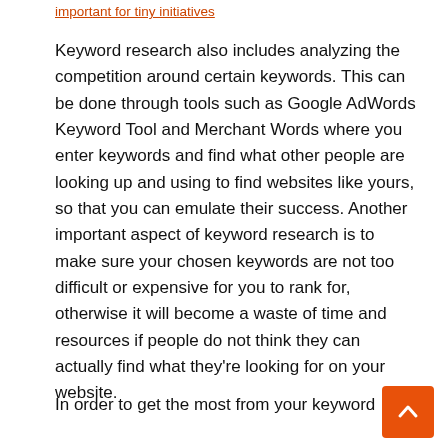important for tiny initiatives
Keyword research also includes analyzing the competition around certain keywords. This can be done through tools such as Google AdWords Keyword Tool and Merchant Words where you enter keywords and find what other people are looking up and using to find websites like yours, so that you can emulate their success. Another important aspect of keyword research is to make sure your chosen keywords are not too difficult or expensive for you to rank for, otherwise it will become a waste of time and resources if people do not think they can actually find what they're looking for on your website.
In order to get the most from your keyword